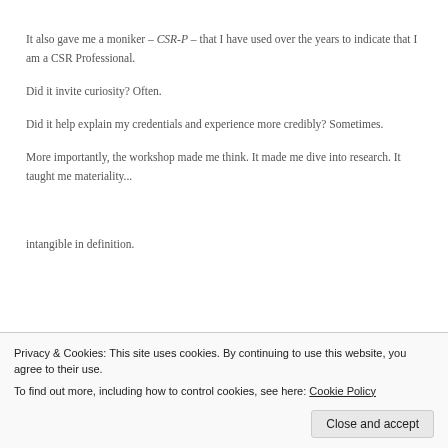It also gave me a moniker – CSR-P – that I have used over the years to indicate that I am a CSR Professional.
Did it invite curiosity? Often.
Did it help explain my credentials and experience more credibly? Sometimes.
More importantly, the workshop made me think. It made me dive into research. It taught me materiality...
intangible in definition.
Privacy & Cookies: This site uses cookies. By continuing to use this website, you agree to their use.
To find out more, including how to control cookies, see here: Cookie Policy